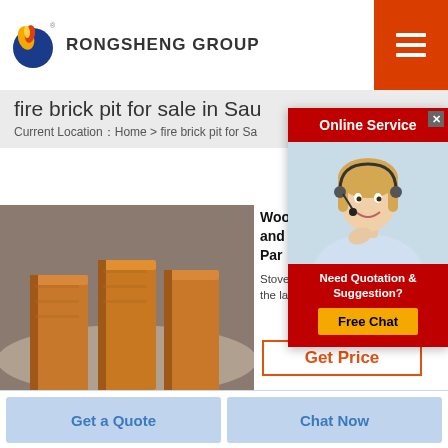[Figure (logo): Rongsheng Group logo — flame and globe icon with text 'RONGSHENG GROUP']
[Figure (screenshot): Hamburger menu button on red/orange background]
fire brick pit for sale in Sau
Current Location：Home > fire brick pit for Sa
[Figure (photo): Photo of brown/golden fire bricks stacked upright on a surface]
Woo and Parts
Stove Grill Parts For Less is one of the largest in stock suppliers
[Figure (screenshot): Online Service popup with customer service agent photo, 'Need Quotation & Suggestion?' text, and 'Free Chat' button]
Get Price
Get a Quote
Chat Now